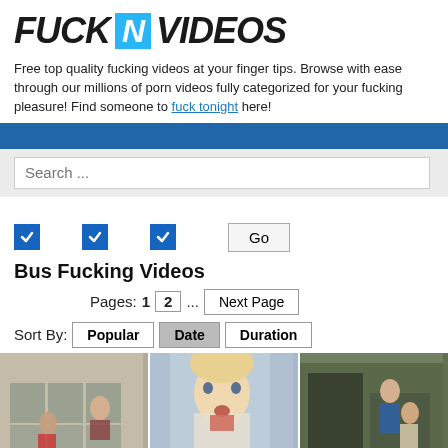[Figure (logo): FuckNVideos logo — bold italic text with 'N' in a cyan/blue box]
Free top quality fucking videos at your finger tips. Browse with ease through our millions of porn videos fully categorized for your fucking pleasure! Find someone to fuck tonight here!
Search ...
Bus Fucking Videos
Pages: 1  2  ...  Next Page
Sort By:  Popular  Date  Duration
[Figure (screenshot): Three video thumbnails at bottom: office scene, blonde woman, van scene]